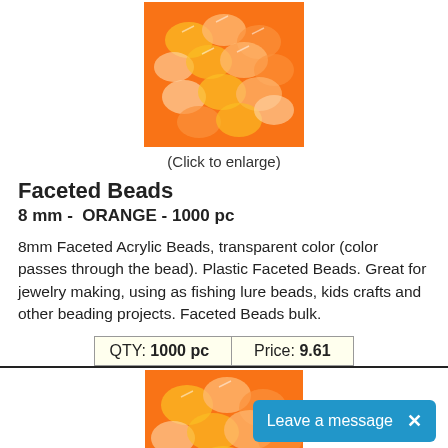[Figure (photo): Orange faceted acrylic beads, close-up photo, transparent orange color]
(Click to enlarge)
Faceted Beads
8 mm -  ORANGE - 1000 pc
8mm Faceted Acrylic Beads, transparent color (color passes through the bead). Plastic Faceted Beads. Great for jewelry making, using as fishing lure beads, kids crafts and other beading projects. Faceted Beads bulk.
| QTY | Price |
| --- | --- |
| 1000 pc | 9.61 |
Item #: 1208-030-B
[Figure (photo): Orange faceted acrylic beads, close-up photo, transparent orange color, second product listing]
(Click to en...